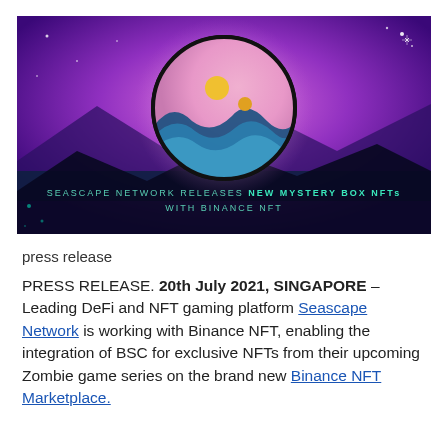[Figure (illustration): Seascape Network banner image with purple/violet gradient background showing silhouetted mountains and a circular logo featuring ocean waves and a sun. Text reads: SEASCAPE NETWORK RELEASES NEW MYSTERY BOX NFTs WITH BINANCE NFT]
press release
PRESS RELEASE. 20th July 2021, SINGAPORE – Leading DeFi and NFT gaming platform Seascape Network is working with Binance NFT, enabling the integration of BSC for exclusive NFTs from their upcoming Zombie game series on the brand new Binance NFT Marketplace.